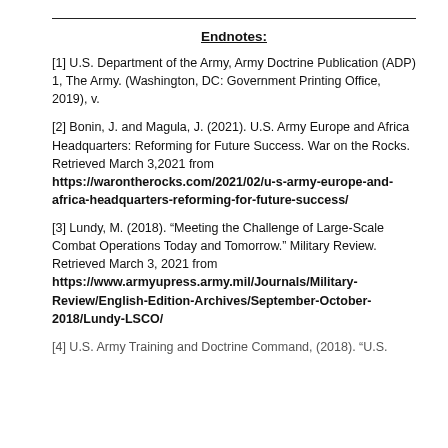Endnotes:
[1] U.S. Department of the Army, Army Doctrine Publication (ADP) 1, The Army. (Washington, DC: Government Printing Office, 2019), v.
[2] Bonin, J. and Magula, J. (2021). U.S. Army Europe and Africa Headquarters: Reforming for Future Success. War on the Rocks. Retrieved March 3,2021 from https://warontherocks.com/2021/02/u-s-army-europe-and-africa-headquarters-reforming-for-future-success/
[3] Lundy, M. (2018). “Meeting the Challenge of Large-Scale Combat Operations Today and Tomorrow.” Military Review. Retrieved March 3, 2021 from https://www.armyupress.army.mil/Journals/Military-Review/English-Edition-Archives/September-October-2018/Lundy-LSCO/
[4] U.S. Army Training and Doctrine Command, (2018). “U.S.